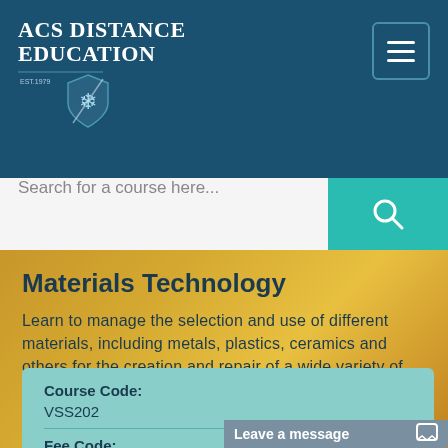[Figure (logo): ACS Distance Education logo with shield emblem on dark teal header background]
Search for a course here...
Materials Technology
Learn to manage the selection and use of different materials, including metals, plastics, ceramics and others for the creation and repair of a wide variety of products. 100 hour online course.
Course Code:
VSS202
Fee Code:
Leave a message